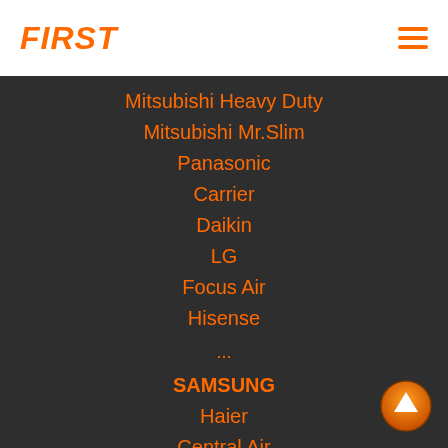FIRST
Mitsubishi Heavy Duty
Mitsubishi Mr.Slim
Panasonic
Carrier
Daikin
LG
Focus Air
Hisense
...
SAMSUNG
Haier
Central Air
Eminent